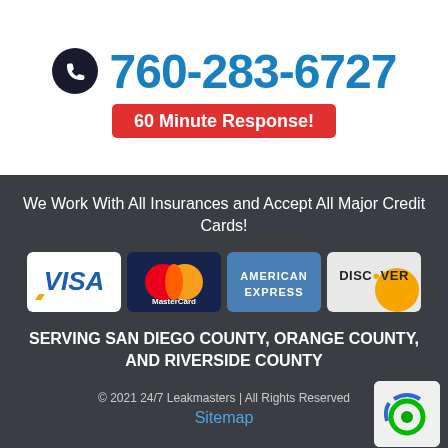760-283-6727
60 Minute Response!
We Work With All Insurances and Accept All Major Credit Cards!
[Figure (logo): VISA, MasterCard, American Express, Discover credit card logos]
SERVING SAN DIEGO COUNTY, ORANGE COUNTY, AND RIVERSIDE COUNTY
© 2021 24/7 Leakmasters | All Rights Reserved
Sitemap